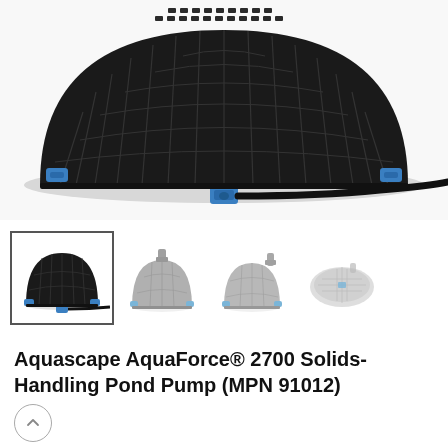[Figure (photo): Close-up top view of an Aquascape AquaForce 2700 pond pump, showing black ribbed dome housing with blue accent clips and a black power cord extending to the right]
[Figure (photo): Four thumbnail images of the Aquascape AquaForce 2700 pond pump showing different angles: front (selected, black), side-left (gray), side-right (gray), and top (faded gray)]
Aquascape AquaForce® 2700 Solids-Handling Pond Pump (MPN 91012)
$309.98